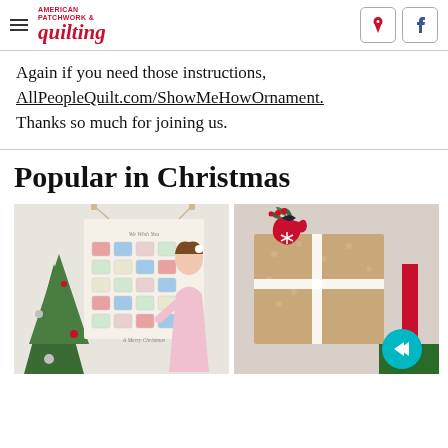American Patchwork & Quilting
Again if you need those instructions, AllPeopleQuilt.com/ShowMeHowOrnament. Thanks so much for joining us.
Popular in Christmas
[Figure (photo): Left image: A young girl in a pink dress interacting with a sewn advent calendar wall hanging with numbered pockets, next to a decorated Christmas tree]
[Figure (photo): Right image: Wrapped brown kraft paper gifts with a red felt mitten ornament decorated with white snowflakes, green sprigs and red berries on top, with a navigation arrow overlay]